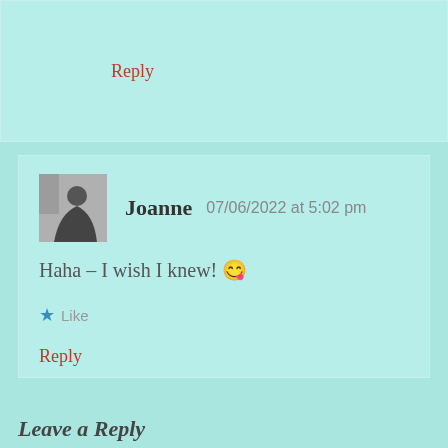Reply
Joanne  07/06/2022 at 5:02 pm
Haha – I wish I knew! 😊
★ Like
Reply
Leave a Reply